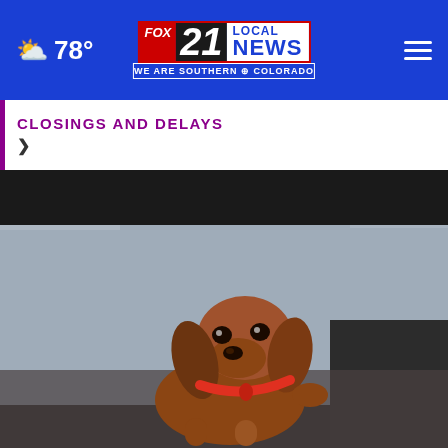FOX 21 LOCAL NEWS | WE ARE SOUTHERN COLORADO | 78° | Menu
CLOSINGS AND DELAYS ›
[Figure (photo): A small brown dachshund puppy with a red collar sitting and looking upward, photographed through a car window with a blurred background.]